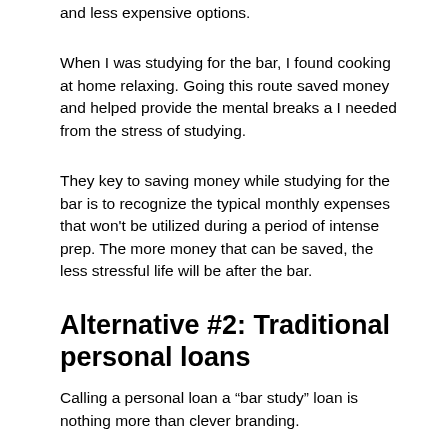and less expensive options.
When I was studying for the bar, I found cooking at home relaxing. Going this route saved money and helped provide the mental breaks a I needed from the stress of studying.
They key to saving money while studying for the bar is to recognize the typical monthly expenses that won't be utilized during a period of intense prep. The more money that can be saved, the less stressful life will be after the bar.
Alternative #2: Traditional personal loans
Calling a personal loan a “bar study” loan is nothing more than clever branding.